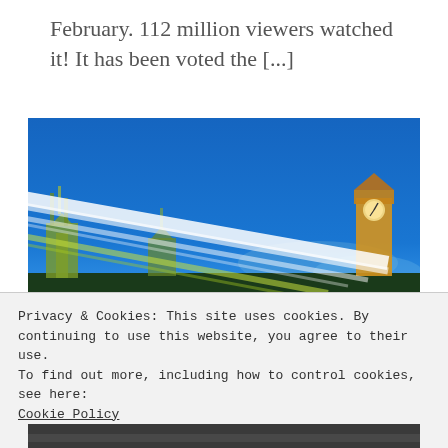February. 112 million viewers watched it! It has been voted the [...]
[Figure (photo): Long-exposure night photograph of Westminster/Big Ben area in London with light trails from passing vehicles streaking diagonally across the image. The Parliament buildings and Big Ben clock tower are visible with yellow/green illumination against a deep blue night sky.]
Privacy & Cookies: This site uses cookies. By continuing to use this website, you agree to their use.
To find out more, including how to control cookies, see here:
Cookie Policy
Close and accept
[Figure (photo): Partial bottom image, dark road/street scene, cropped.]